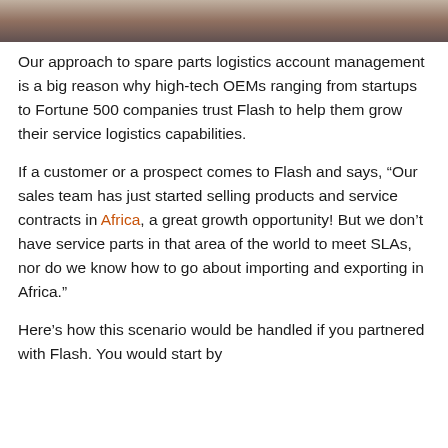[Figure (photo): Cropped bottom portion of a photo, dark brown/grey tones, appears to show an indoor scene]
Our approach to spare parts logistics account management is a big reason why high-tech OEMs ranging from startups to Fortune 500 companies trust Flash to help them grow their service logistics capabilities.
If a customer or a prospect comes to Flash and says, “Our sales team has just started selling products and service contracts in Africa, a great growth opportunity! But we don’t have service parts in that area of the world to meet SLAs, nor do we know how to go about importing and exporting in Africa.”
Here’s how this scenario would be handled if you partnered with Flash. You would start by